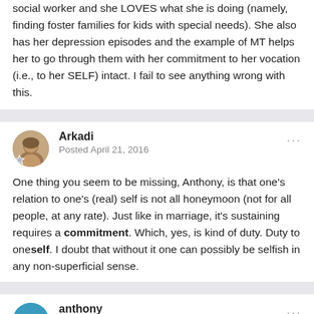social worker and she LOVES what she is doing (namely, finding foster families for kids with special needs). She also has her depression episodes and the example of MT helps her to go through them with her commitment to her vocation (i.e., to her SELF) intact. I fail to see anything wrong with this.
Arkadi
Posted April 21, 2016
One thing you seem to be missing, Anthony, is that one's relation to one's (real) self is not all honeymoon (not for all people, at any rate). Just like in marriage, it's sustaining requires a commitment. Which, yes, is kind of duty. Duty to oneself. I doubt that without it one can possibly be selfish in any non-superficial sense.
anthony
Posted April 22, 2016